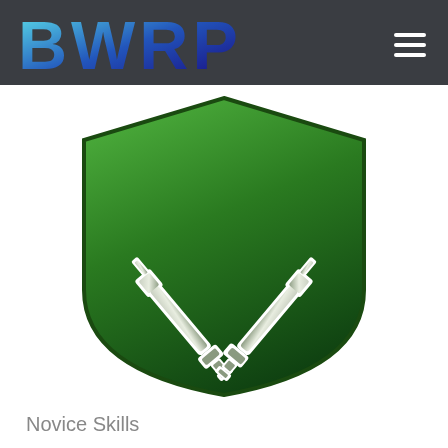[Figure (logo): BWRP logo: large teal/blue gradient letters 'BWRP' on dark gray header bar with hamburger menu icon on the right]
[Figure (illustration): Green shield emblem with two crossed rifles/guns in silver-green gradient with white outline, on white background]
Novice Skills